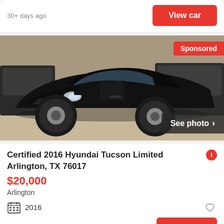30+ days ago
View car
[Figure (photo): Black Hyundai Tucson SUV photographed in a parking lot, front three-quarter view. Labeled 'Sponsored' in the top right and 'See photo >' in the bottom right.]
Certified 2016 Hyundai Tucson Limited Arlington, TX 76017
$20,000
Arlington
2016
30+ days ago
View car